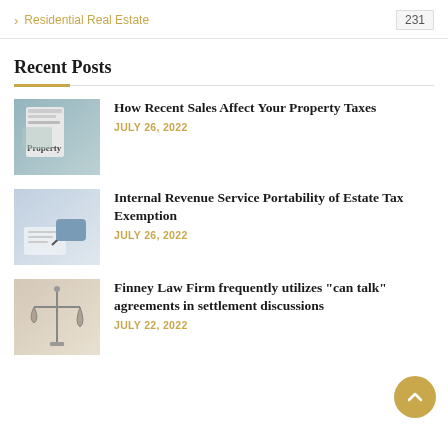> Residential Real Estate  231
Recent Posts
How Recent Sales Affect Your Property Taxes
JULY 26, 2022
Internal Revenue Service Portability of Estate Tax Exemption
JULY 26, 2022
Finney Law Firm frequently utilizes "can talk" agreements in settlement discussions
JULY 22, 2022